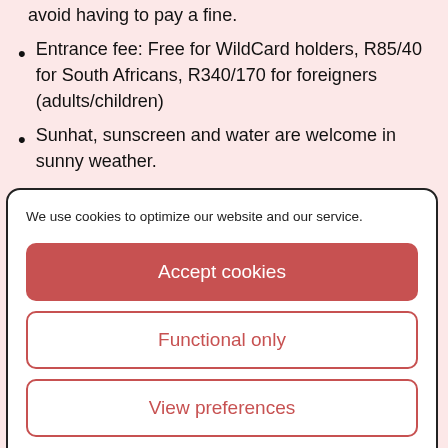avoid having to pay a fine.
Entrance fee: Free for WildCard holders, R85/40 for South Africans, R340/170 for foreigners (adults/children)
Sunhat, sunscreen and water are welcome in sunny weather.
We use cookies to optimize our website and our service.
Accept cookies
Functional only
View preferences
Cookie Policy  Privacy Policy